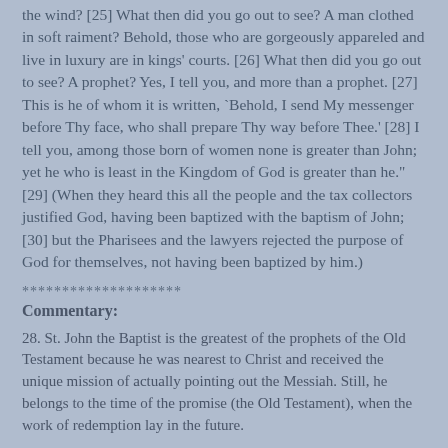the wind? [25] What then did you go out to see? A man clothed in soft raiment? Behold, those who are gorgeously appareled and live in luxury are in kings' courts. [26] What then did you go out to see? A prophet? Yes, I tell you, and more than a prophet. [27] This is he of whom it is written, `Behold, I send My messenger before Thy face, who shall prepare Thy way before Thee.' [28] I tell you, among those born of women none is greater than John; yet he who is least in the Kingdom of God is greater than he." [29] (When they heard this all the people and the tax collectors justified God, having been baptized with the baptism of John; [30] but the Pharisees and the lawyers rejected the purpose of God for themselves, not having been baptized by him.)
********************
Commentary:
28. St. John the Baptist is the greatest of the prophets of the Old Testament because he was nearest to Christ and received the unique mission of actually pointing out the Messiah. Still, he belongs to the time of the promise (the Old Testament), when the work of redemption lay in the future.